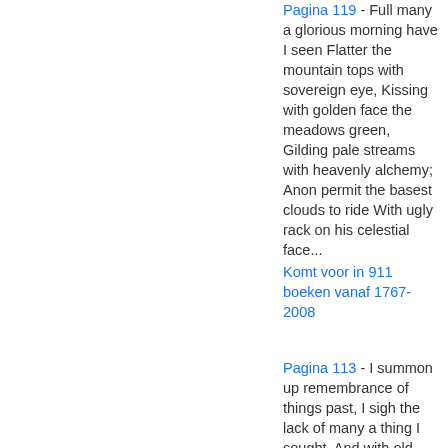Pagina 119 - Full many a glorious morning have I seen Flatter the mountain tops with sovereign eye, Kissing with golden face the meadows green, Gilding pale streams with heavenly alchemy; Anon permit the basest clouds to ride With ugly rack on his celestial face...
Komt voor in 911 boeken vanaf 1767-2008
Pagina 113 - I summon up remembrance of things past, I sigh the lack of many a thing I sought, And with old woes new wail my dear time's waste: Then can I drown an eye, unused to